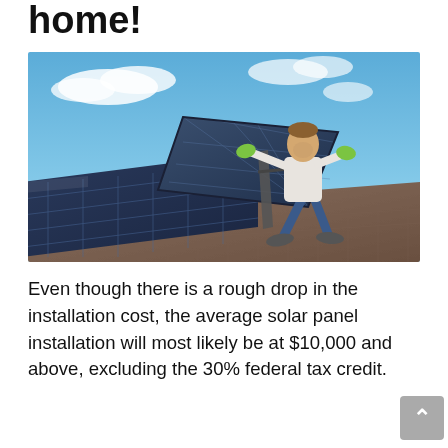home!
[Figure (photo): Worker installing solar panels on a rooftop under a blue sky, lifting a solar panel with gloved hands]
Even though there is a rough drop in the installation cost, the average solar panel installation will most likely be at $10,000 and above, excluding the 30% federal tax credit.